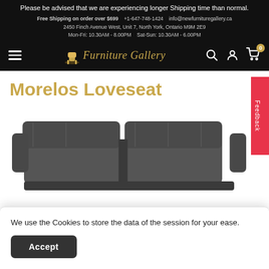Please be advised that we are experiencing longer Shipping time than normal.
Free Shipping on order over $699    +1-647-748-1424    info@newfurnituregallery.ca
2450 Finch Avenue West, Unit 7, North York, Ontario M9M 2E9
Mon-Fri: 10.30AM - 8.00PM    Sat-Sun: 10.30AM - 6.00PM
[Figure (logo): Furniture Gallery logo with gold chair icon and italic gold text]
Morelos Loveseat
[Figure (photo): Dark gray leather loveseat sofa with two cushions, Save $560 badge in red]
We use the Cookies to store the data of the session for your ease.